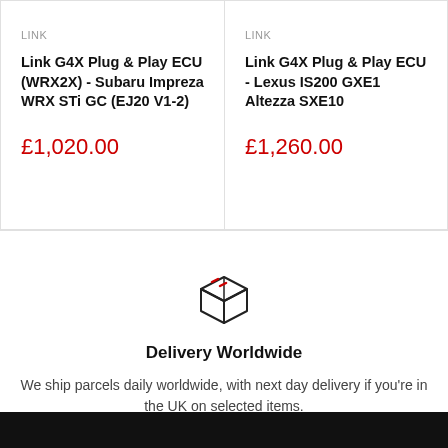LINK
Link G4X Plug & Play ECU (WRX2X) - Subaru Impreza WRX STi GC (EJ20 V1-2)
£1,020.00
LINK
Link G4X Plug & Play ECU - Lexus IS200 GXE10 Altezza SXE10
£1,260.00
[Figure (illustration): Box/package delivery icon - line art of a cube/box with two diagonal stripe lines on the top face]
Delivery Worldwide
We ship parcels daily worldwide, with next day delivery if you're in the UK on selected items.